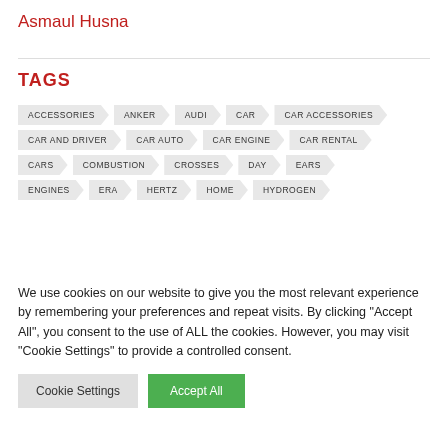Asmaul Husna
TAGS
ACCESSORIES, ANKER, AUDI, CAR, CAR ACCESSORIES, CAR AND DRIVER, CAR AUTO, CAR ENGINE, CAR RENTAL, CARS, COMBUSTION, CROSSES, DAY, EARS, ENGINES, ERA, HERTZ, HOME, HYDROGEN
We use cookies on our website to give you the most relevant experience by remembering your preferences and repeat visits. By clicking "Accept All", you consent to the use of ALL the cookies. However, you may visit "Cookie Settings" to provide a controlled consent.